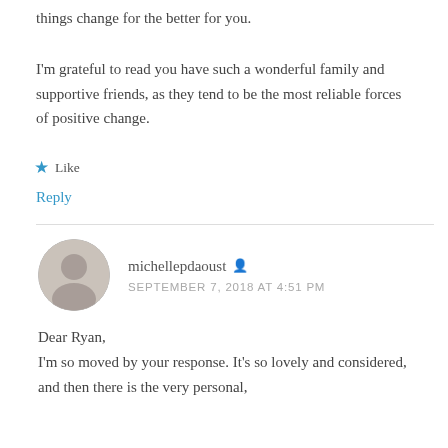things change for the better for you.
I'm grateful to read you have such a wonderful family and supportive friends, as they tend to be the most reliable forces of positive change.
Like
Reply
michellepdaoust
SEPTEMBER 7, 2018 AT 4:51 PM
Dear Ryan,
I'm so moved by your response. It's so lovely and considered, and then there is the very personal,